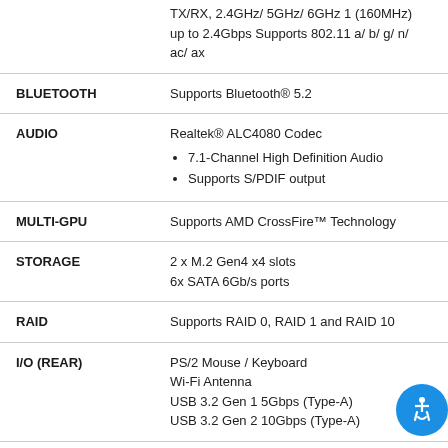| Feature | Description |
| --- | --- |
|  | TX/RX, 2.4GHz/ 5GHz/ 6GHz 1 (160MHz) up to 2.4Gbps Supports 802.11 a/ b/ g/ n/ ac/ ax |
| BLUETOOTH | Supports Bluetooth® 5.2 |
| AUDIO | Realtek® ALC4080 Codec
• 7.1-Channel High Definition Audio
• Supports S/PDIF output |
| MULTI-GPU | Supports AMD CrossFire™ Technology |
| STORAGE | 2 x M.2 Gen4 x4 slots
6x SATA 6Gb/s ports |
| RAID | Supports RAID 0, RAID 1 and RAID 10 |
| I/O (REAR) | PS/2 Mouse / Keyboard
Wi-Fi Antenna
USB 3.2 Gen 1 5Gbps (Type-A)
USB 3.2 Gen 2 10Gbps (Type-A) |